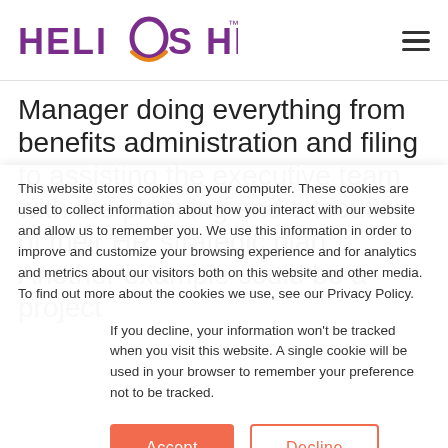[Figure (logo): Helios HR logo with purple text and orange sun arc graphic, with hamburger menu icon on the right]
Manager doing everything from benefits administration and filing to assisting the executive team with the planning and execution of their HR strategic plan. Another example could be a project
This website stores cookies on your computer. These cookies are used to collect information about how you interact with our website and allow us to remember you. We use this information in order to improve and customize your browsing experience and for analytics and metrics about our visitors both on this website and other media. To find out more about the cookies we use, see our Privacy Policy.
If you decline, your information won’t be tracked when you visit this website. A single cookie will be used in your browser to remember your preference not to be tracked.
Accept   Decline